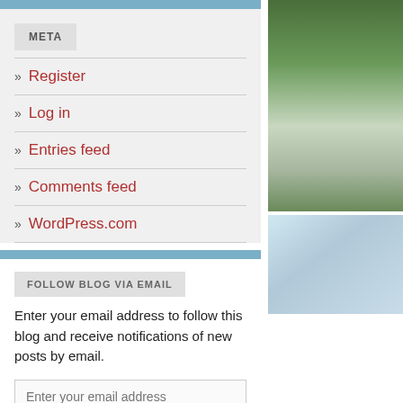META
Register
Log in
Entries feed
Comments feed
WordPress.com
FOLLOW BLOG VIA EMAIL
Enter your email address to follow this blog and receive notifications of new posts by email.
[Figure (photo): A woman in a light green dress holding a white bouquet, standing outdoors near green bushes.]
[Figure (photo): Blurred outdoor photo showing tree branches against a bright sky.]